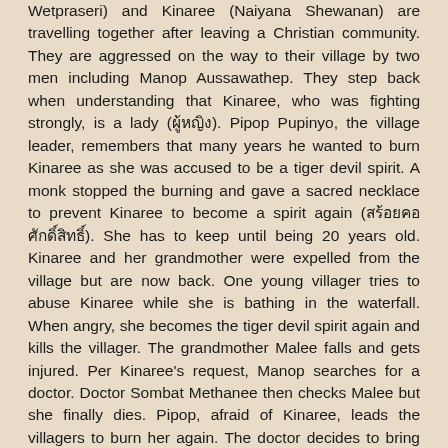Wetpraseri) and Kinaree (Naiyana Shewanan) are travelling together after leaving a Christian community. They are aggressed on the way to their village by two men including Manop Aussawathep. They step back when understanding that Kinaree, who was fighting strongly, is a lady (ผู้หญิง). Pipop Pupinyo, the village leader, remembers that many years he wanted to burn Kinaree as she was accused to be a tiger devil spirit. A monk stopped the burning and gave a sacred necklace to prevent Kinaree to become a spirit again (สร้อยคอศักดิ์สิทธิ์). She has to keep until being 20 years old. Kinaree and her grandmother were expelled from the village but are now back. One young villager tries to abuse Kinaree while she is bathing in the waterfall. When angry, she becomes the tiger devil spirit again and kills the villager. The grandmother Malee falls and gets injured. Per Kinaree's request, Manop searches for a doctor. Doctor Sombat Methanee then checks Malee but she finally dies. Pipop, afraid of Kinaree, leads the villagers to burn her again. The doctor decides to bring Kinaree in Bangkok but faces Manop, who is jealous. The doctor and Kinaree succeed to flee Manop and the angry crowd. They are back to Bangkok. New characters are present in the doctor's home, Chosri Misommon as domestic helper, Wilaiwan Watthanaphanit as mother, Mayurachath Muarnprasitivej as his fiancee Dao (แก้วตา), friends such as Chom